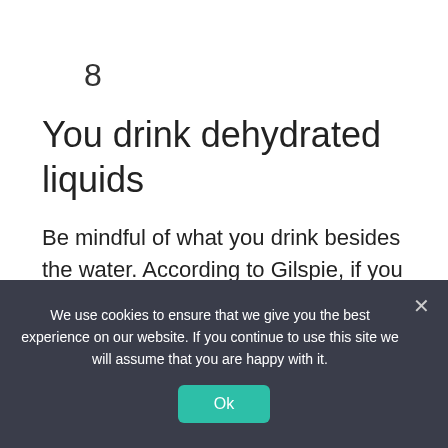8
You drink dehydrated liquids
Be mindful of what you drink besides the water. According to Gilspie, if you feel thirsty, you should try to increase your intake of hydrating fluids, such as water, tea and sports drinks, and reduce alcohol-containing drinks, as they may have a slight diuretic effect.
We use cookies to ensure that we give you the best experience on our website. If you continue to use this site we will assume that you are happy with it.